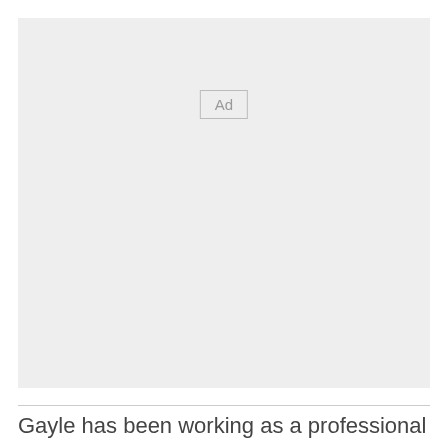[Figure (other): Advertisement placeholder box with 'Ad' label in center]
Gayle has been working as a professional